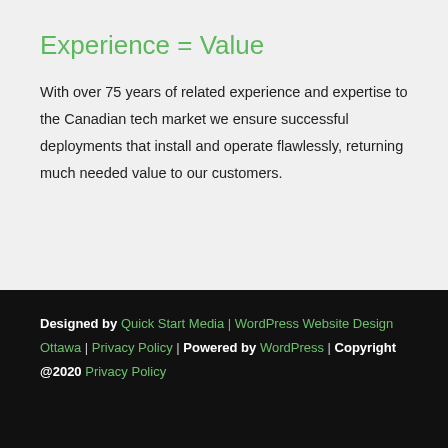Experience = Value
With over 75 years of related experience and expertise to the Canadian tech market we ensure successful deployments that install and operate flawlessly, returning much needed value to our customers.
Designed by Quick Start Media | WordPress Website Design Ottawa | Privacy Policy | Powered by WordPress | Copyright @2020 Privacy Policy
[Figure (logo): StatCounter .com logo badge]